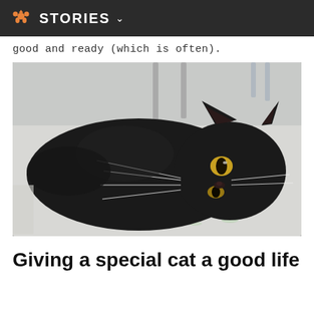STORIES
good and ready (which is often).
[Figure (photo): A black cat lying on its side on a white floor, looking at the camera with golden-yellow eyes. The cat has long whiskers and fluffy black fur. Metal chair or table legs are visible in the background.]
Giving a special cat a good life